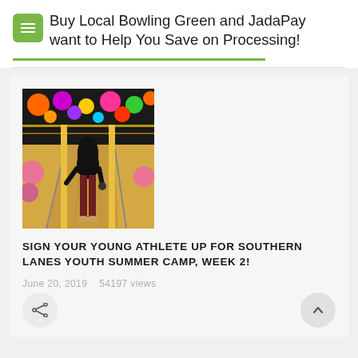Buy Local Bowling Green and JadaPay want to Help You Save on Processing!
[Figure (photo): A young person standing at a bowling lane viewed from behind, with colorful bowling decorations and lane lighting visible]
SIGN YOUR YOUNG ATHLETE UP FOR SOUTHERN LANES YOUTH SUMMER CAMP, WEEK 2!
June 20, 2019   54197 views